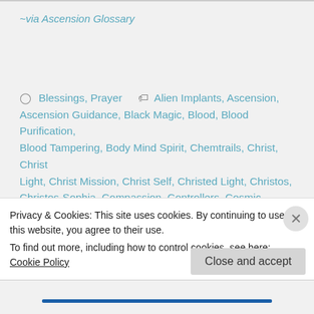~via Ascension Glossary
Blessings, Prayer   Alien Implants, Ascension, Ascension Guidance, Black Magic, Blood, Blood Purification, Blood Tampering, Body Mind Spirit, Chemtrails, Christ, Christ Light, Christ Mission, Christ Self, Christed Light, Christos, Christos-Sophia, Compassion, Controllers, Cosmic Sovereign Law, Crystal Heart, Crystal Lotus Heart, Curses, Discernment, DNA, DNA Tampering, Empathy, Energetic Synthesis, Eternal
Privacy & Cookies: This site uses cookies. By continuing to use this website, you agree to their use.
To find out more, including how to control cookies, see here: Cookie Policy
Close and accept